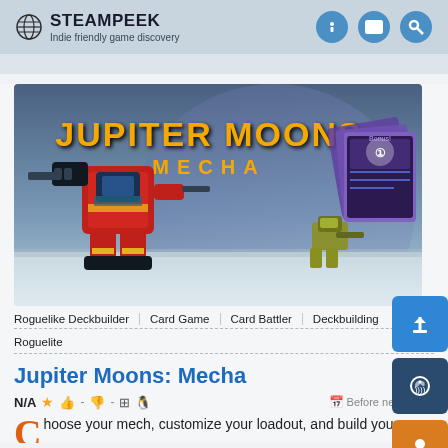STEAMPEEK — Indie friendly game discovery
[Figure (illustration): Jupiter Moons: Mecha game banner showing a large red and yellow mech robot with a smaller mech in background against a blue-grey alien landscape. Title text 'JUPITER MOONS MECHA' in orange/yellow on purple/dark background.]
Roguelike Deckbuilder
Card Game
Card Battler
Deckbuilding
Roguelite
Jupiter Moons: Mecha
N/A ★  👍 - 👎 -  🪟 🐧   Before next Jov…
Choose your mech, customize your loadout, and build your